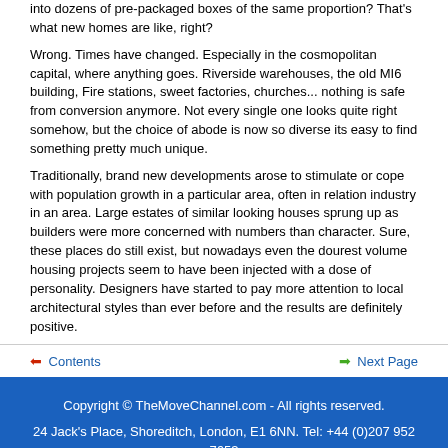into dozens of pre-packaged boxes of the same proportion? That's what new homes are like, right?
Wrong. Times have changed. Especially in the cosmopolitan capital, where anything goes. Riverside warehouses, the old MI6 building, Fire stations, sweet factories, churches... nothing is safe from conversion anymore. Not every single one looks quite right somehow, but the choice of abode is now so diverse its easy to find something pretty much unique.
Traditionally, brand new developments arose to stimulate or cope with population growth in a particular area, often in relation industry in an area. Large estates of similar looking houses sprung up as builders were more concerned with numbers than character. Sure, these places do still exist, but nowadays even the dourest volume housing projects seem to have been injected with a dose of personality. Designers have started to pay more attention to local architectural styles than ever before and the results are definitely positive.
Contents   Next Page
Copyright © TheMoveChannel.com - All rights reserved. 24 Jack's Place, Shoreditch, London, E1 6NN. Tel: +44 (0)207 952 7653 Privacy Policy | Terms of Use